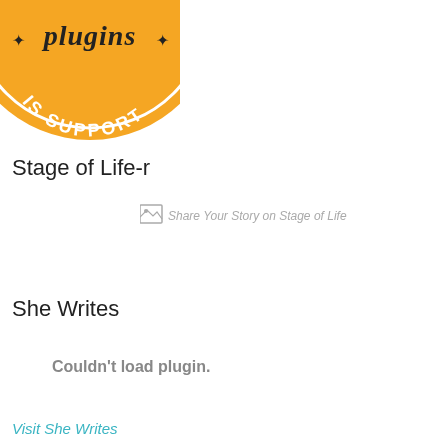[Figure (logo): Orange circular badge/logo with text 'plugins' and 'IS SUPPORT' visible, partially cropped at top]
Stage of Life-r
[Figure (other): Broken image placeholder with alt text 'Share Your Story on Stage of Life']
She Writes
Couldn't load plugin.
Visit She Writes